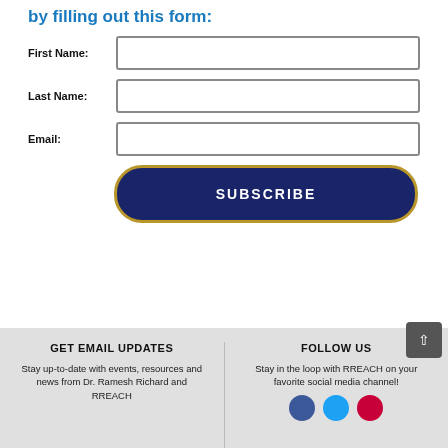by filling out this form:
First Name:
Last Name:
Email:
SUBSCRIBE
GET EMAIL UPDATES
FOLLOW US
Stay up-to-date with events, resources and news from Dr. Ramesh Richard and RREACH
Stay in the loop with RREACH on your favorite social media channel!